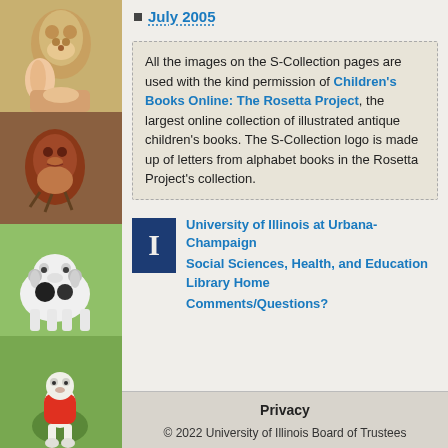[Figure (illustration): Left column with four illustrated children's book animal images stacked vertically: a bunny/rabbit at top, a robin/bird second, a dog third, and a rabbit in a red jacket at bottom]
July 2005
All the images on the S-Collection pages are used with the kind permission of Children's Books Online: The Rosetta Project, the largest online collection of illustrated antique children's books. The S-Collection logo is made up of letters from alphabet books in the Rosetta Project's collection.
University of Illinois at Urbana-Champaign
Social Sciences, Health, and Education Library Home
Comments/Questions?
Privacy
© 2022 University of Illinois Board of Trustees